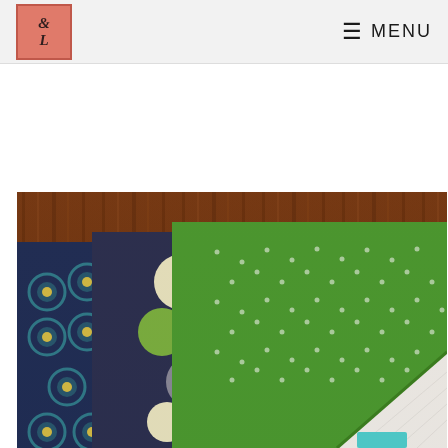L&L logo and MENU navigation
[Figure (photo): Three folded fabric burp cloths fanned out on a wood surface. From left to right: a navy blue cloth with circular medallion pattern, a dark cloth with large multicolor polka dots (blue, cream, olive, gray), and a green dotted cloth with white terry cloth backing visible at the corner. A teal brand label is visible on the navy cloth.]